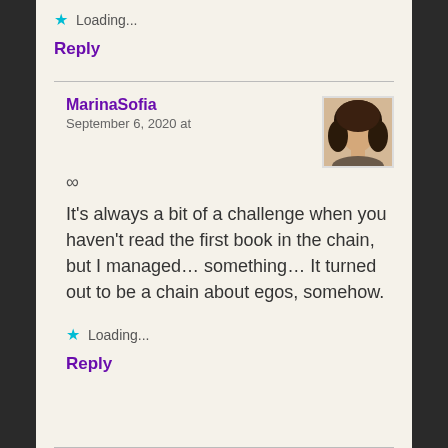Loading...
Reply
MarinaSofia
September 6, 2020 at
[Figure (photo): Avatar photo of MarinaSofia showing a person with dark hair]
∞
It's always a bit of a challenge when you haven't read the first book in the chain, but I managed… something… It turned out to be a chain about egos, somehow.
Loading...
Reply